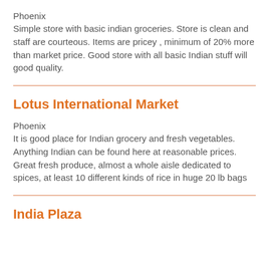Phoenix
Simple store with basic indian groceries. Store is clean and staff are courteous. Items are pricey , minimum of 20% more than market price. Good store with all basic Indian stuff will good quality.
Lotus International Market
Phoenix
It is good place for Indian grocery and fresh vegetables. Anything Indian can be found here at reasonable prices. Great fresh produce, almost a whole aisle dedicated to spices, at least 10 different kinds of rice in huge 20 lb bags
India Plaza